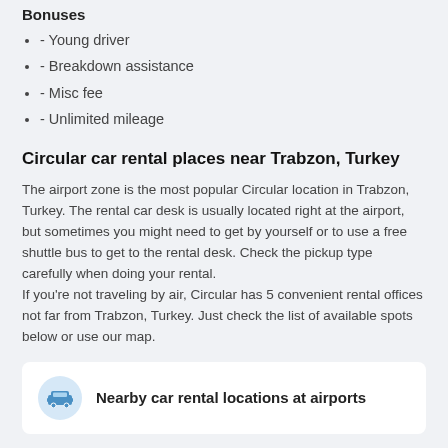Bonuses
- Young driver
- Breakdown assistance
- Misc fee
- Unlimited mileage
Circular car rental places near Trabzon, Turkey
The airport zone is the most popular Circular location in Trabzon, Turkey. The rental car desk is usually located right at the airport, but sometimes you might need to get by yourself or to use a free shuttle bus to get to the rental desk. Check the pickup type carefully when doing your rental.
If you're not traveling by air, Circular has 5 convenient rental offices not far from Trabzon, Turkey. Just check the list of available spots below or use our map.
Nearby car rental locations at airports